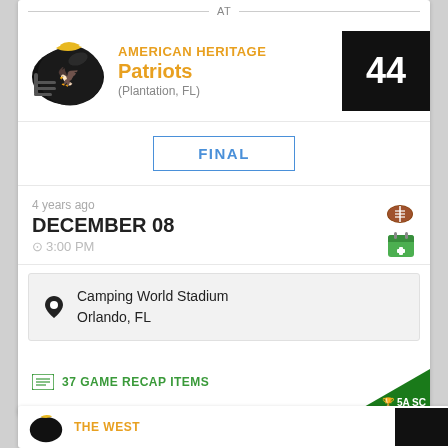AT
AMERICAN HERITAGE Patriots (Plantation, FL)
44
FINAL
4 years ago
DECEMBER 08
3:00 PM
Camping World Stadium Orlando, FL
37 GAME RECAP ITEMS
5A SC
THE WEST